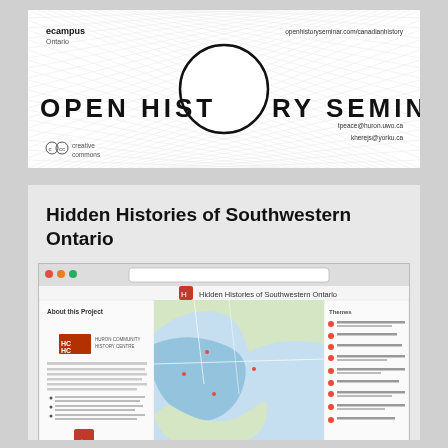[Figure (logo): Open History Seminar banner with ecampus Ontario logo, Creative Commons logo, X pattern background made of text/lines, circle in center, and text: openhistoryseminar.com/canadianhistory, tpeace@huron.uwo.ca, kherejs@yorku.ca. Large text reads OPEN HISTORY SEMINAR.]
Hidden Histories of Southwestern Ontario
[Figure (screenshot): Screenshot of the Hidden Histories of Southwestern Ontario web application showing a map of southwestern Ontario with sidebar panels. Left panel shows About this Project section with Huron County Community History Centre logo and text. Right panel shows a list of topics. The map shows Lake Erie and surrounding area.]